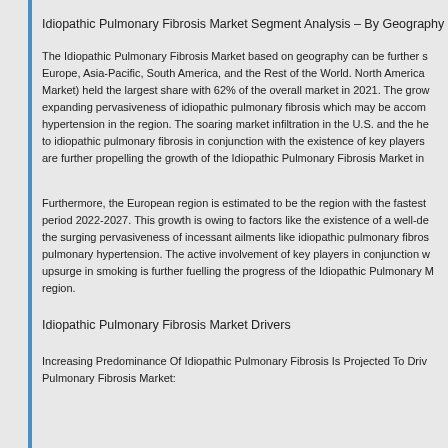Idiopathic Pulmonary Fibrosis Market Segment Analysis – By Geography
The Idiopathic Pulmonary Fibrosis Market based on geography can be further s Europe, Asia-Pacific, South America, and the Rest of the World. North America Market) held the largest share with 62% of the overall market in 2021. The grow expanding pervasiveness of idiopathic pulmonary fibrosis which may be accom hypertension in the region. The soaring market infiltration in the U.S. and the he to idiopathic pulmonary fibrosis in conjunction with the existence of key players are further propelling the growth of the Idiopathic Pulmonary Fibrosis Market in
Furthermore, the European region is estimated to be the region with the fastest period 2022-2027. This growth is owing to factors like the existence of a well-de the surging pervasiveness of incessant ailments like idiopathic pulmonary fibros pulmonary hypertension. The active involvement of key players in conjunction w upsurge in smoking is further fuelling the progress of the Idiopathic Pulmonary M region.
Idiopathic Pulmonary Fibrosis Market Drivers
Increasing Predominance Of Idiopathic Pulmonary Fibrosis Is Projected To Driv Pulmonary Fibrosis Market: